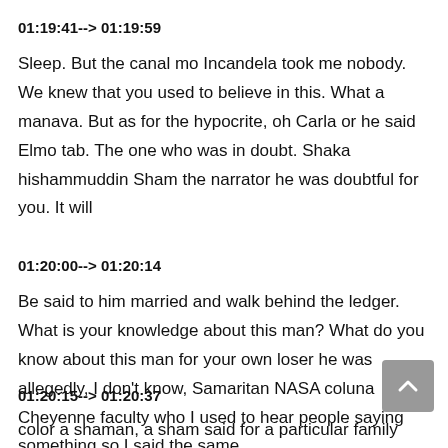01:19:41--> 01:19:59
Sleep. But the canal mo Incandela took me nobody. We knew that you used to believe in this. What a manava. But as for the hypocrite, oh Carla or he said Elmo tab. The one who was in doubt. Shaka hishammuddin Sham the narrator he was doubtful for you. It will
01:20:00--> 01:20:14
Be said to him married and walk behind the ledger. What is your knowledge about this man? What do you know about this man for your own loser he was allegedly, I don't know, Samaritan NASA coluna Cheyenne faculty who I used to hear people saying something so I said the same
01:20:15--> 01:20:37
color a shaman, a sham said for a particular family matta for you to